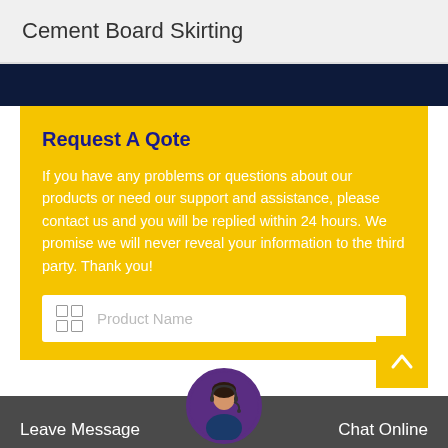Cement Board Skirting
Request A Qote
If you have any problems or questions about our products or need our support and assistance, please contact us and you will be replied within 24 hours. We promise we will never reveal your information to the third party. Thank you!
Product Name
Leave Message
Chat Online
Your Name